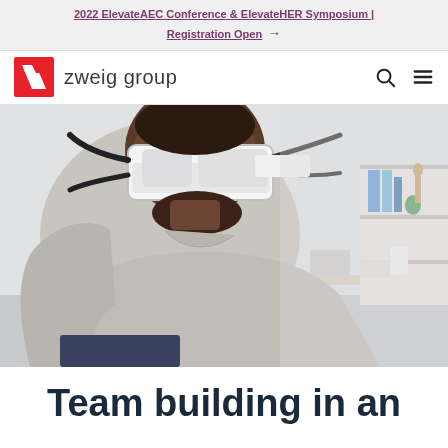2022 ElevateAEC Conference & ElevateHER Symposium | Registration Open →
[Figure (logo): Zweig Group logo: red square with white diagonal slash/Z shape, followed by text 'zweig group']
[Figure (photo): Man wearing a VR headset leaning forward, smiling, in an office environment with shelves in background]
Team building in an